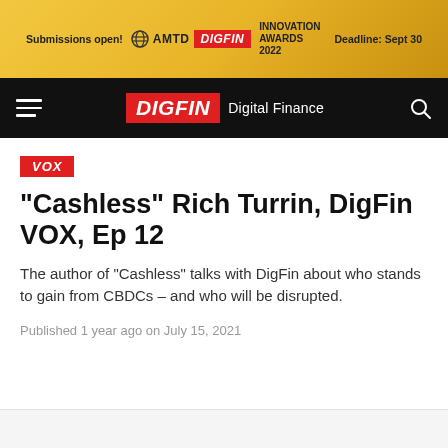Submissions open! AMTD DIGFIN INNOVATION AWARDS 2022 Deadline: Sept 30
DIGFIN Digital Finance
VOX
“Cashless” Rich Turrin, DigFin VOX, Ep 12
The author of “Cashless” talks with DigFin about who stands to gain from CBDCs – and who will be disrupted.
Published 1 year ago on July 15, 2021